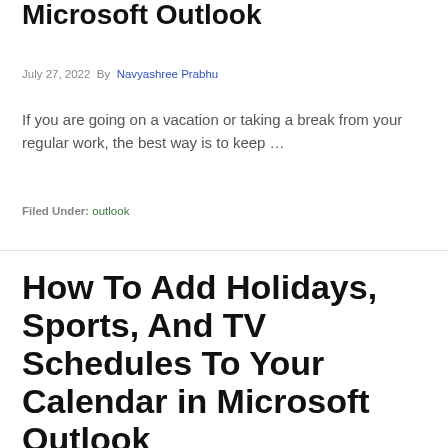Microsoft Outlook
July 27, 2022  By  Navyashree Prabhu
If you are going on a vacation or taking a break from your regular work, the best way is to keep …
Filed Under: outlook
How To Add Holidays, Sports, And TV Schedules To Your Calendar in Microsoft Outlook